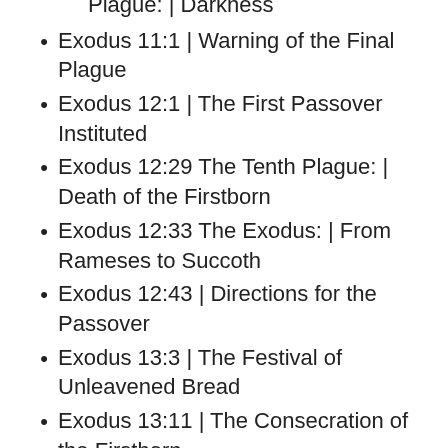Plague: | Darkness
Exodus 11:1 | Warning of the Final Plague
Exodus 12:1 | The First Passover Instituted
Exodus 12:29 The Tenth Plague: | Death of the Firstborn
Exodus 12:33 The Exodus: | From Rameses to Succoth
Exodus 12:43 | Directions for the Passover
Exodus 13:3 | The Festival of Unleavened Bread
Exodus 13:11 | The Consecration of the Firstborn